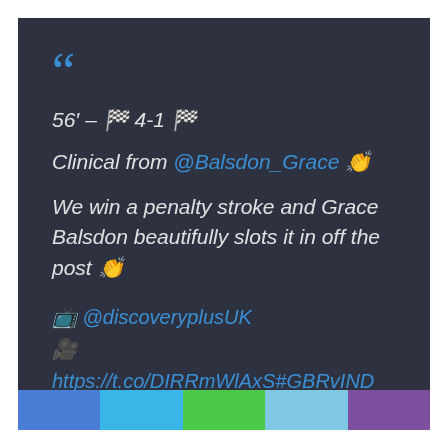[Figure (screenshot): Social media post screenshot on dark background with colorful bar at bottom]
““
56’ – 🏁 4-1 🏁
Clinical from @Balsdon_Grace 👏
We win a penalty stroke and Grace Balsdon beautifully slots it in off the post 👏
📺 @discoveryplusUK
🎥
https://t.co/DIRRmWlAxS#GBRvIND
#Tokyo2020